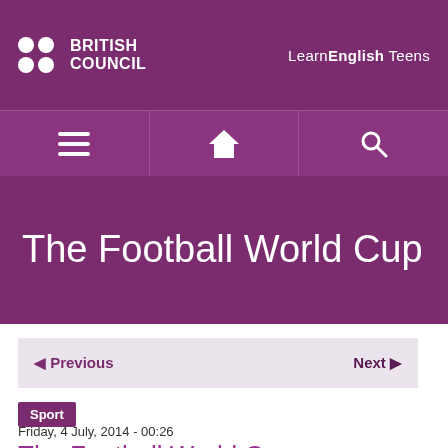BRITISH COUNCIL — LearnEnglish Teens
[Figure (screenshot): Navigation bar with hamburger menu, home icon, and search icon on purple background]
The Football World Cup
◄ Previous   Next ►
Sport
Friday, 4 July, 2014 - 00:26
The Football World Cup